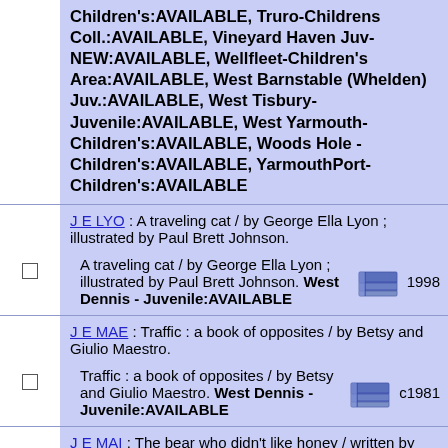Children's:AVAILABLE, Truro-Childrens Coll.:AVAILABLE, Vineyard Haven Juv-NEW:AVAILABLE, Wellfleet-Children's Area:AVAILABLE, West Barnstable (Whelden) Juv.:AVAILABLE, West Tisbury-Juvenile:AVAILABLE, West Yarmouth-Children's:AVAILABLE, Woods Hole - Children's:AVAILABLE, YarmouthPort-Children's:AVAILABLE
J E LYO : A traveling cat / by George Ella Lyon ; illustrated by Paul Brett Johnson.
A traveling cat / by George Ella Lyon ; illustrated by Paul Brett Johnson. West Dennis - Juvenile:AVAILABLE 1998
J E MAE : Traffic : a book of opposites / by Betsy and Giulio Maestro.
Traffic : a book of opposites / by Betsy and Giulio Maestro. West Dennis - Juvenile:AVAILABLE c1981
J E MAI : The bear who didn't like honey / written by Barbara Maitland ; illustrated by Odilon Moraes.